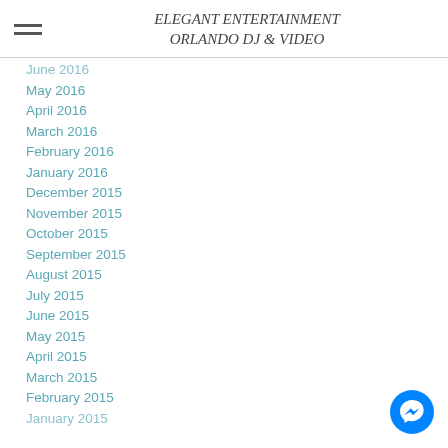ELEGANT ENTERTAINMENT ORLANDO DJ & VIDEO
June 2016
May 2016
April 2016
March 2016
February 2016
January 2016
December 2015
November 2015
October 2015
September 2015
August 2015
July 2015
June 2015
May 2015
April 2015
March 2015
February 2015
January 2015